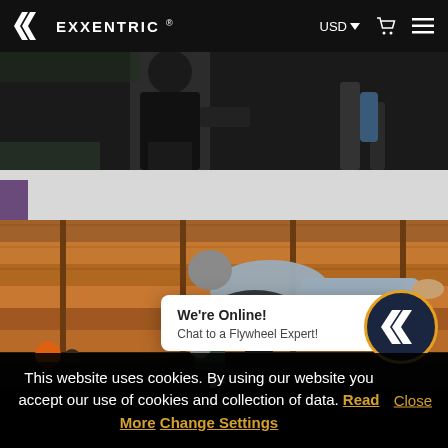EXXENTRIC ® | USD | Cart | Menu
[Figure (photo): Dark gym environment with a person in black clothing standing, equipment visible in background]
[Figure (photo): Person in grey shirt performing an exercise on wooden bleachers/benches in a gym, reaching forward with arms extended]
We're Online! Chat to a Flywheel Expert!
This website uses cookies. By using our website you accept our use of cookies and collection of data. Read More Change Settings